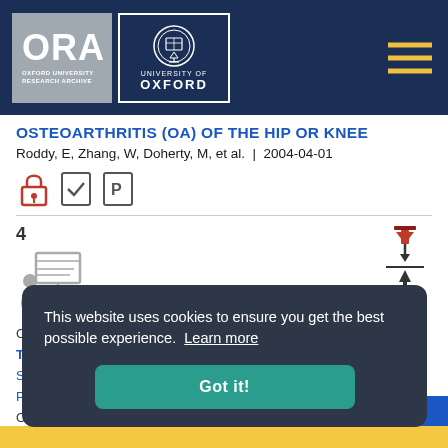[Figure (logo): ORA Oxford University Research Archive logo and University of Oxford crest logo on dark navy header with hamburger menu icon]
OSTEOARTHRITIS (OA) OF THE HIP OR KNEE
Roddy, E, Zhang, W, Doherty, M, et al.  |  2004-04-01
[Figure (infographic): Open access lock icon, verified document icon, and preprint icon]
4
[Figure (infographic): Presenter at podium icon]
[Figure (infographic): Red pushpin with TO TOP label and upward arrow]
C
T
S
P
O
This website uses cookies to ensure you get the best possible experience.  Learn more
Got it!